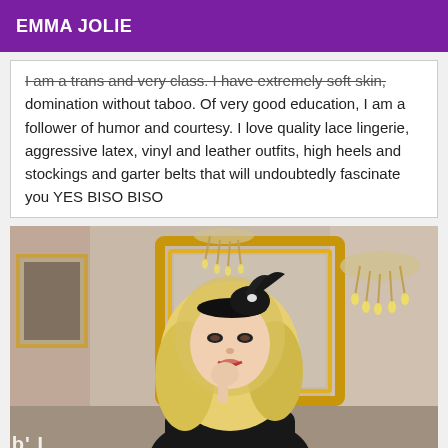EMMA JOLIE
I am a trans and very class. I have extremely soft skin, domination without taboo. Of very good education, I am a follower of humor and courtesy. I love quality lace lingerie, aggressive latex, vinyl and leather outfits, high heels and stockings and garter belts that will undoubtedly fascinate you YES BISO BISO
[Figure (photo): A blonde woman wearing a black fascinator hat, posed in an ornate room with chandeliers and gold-framed mirrors. Watermark text 'L'détonceuse' mirrored at the bottom right.]